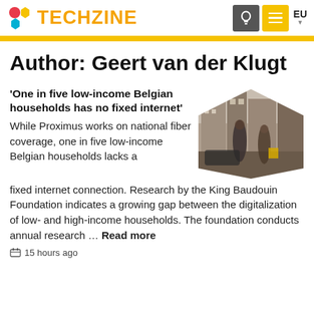TECHZINE | EU
Author: Geert van der Klugt
'One in five low-income Belgian households has no fixed internet'
While Proximus works on national fiber coverage, one in five low-income Belgian households lacks a fixed internet connection. Research by the King Baudouin Foundation indicates a growing gap between the digitalization of low- and high-income households. The foundation conducts annual research … Read more
[Figure (photo): Street scene with blurred pedestrians and buildings, hexagonal crop]
🕓 15 hours ago